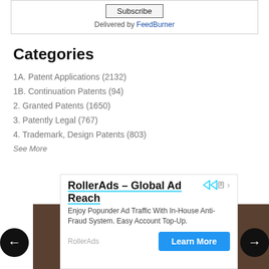Delivered by FeedBurner
Categories
1A. Patent Applications (2132)
1B. Continuation Patents (94)
2. Granted Patents (1650)
3. Patently Legal (767)
4. Trademark, Design Patents (803)
See More
[Figure (screenshot): Advertisement banner for RollerAds - Global Ad Reach with navigation arrows and Learn More button]